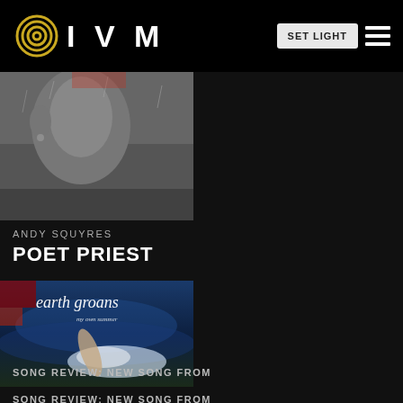IVM — SET LIGHT
[Figure (photo): Grayscale close-up photo of a person's face/ear in the rain, partially cropped]
ANDY SQUYRES
POET PRIEST
[Figure (photo): Album cover for 'earth groans' showing a person submerged/falling in water with blue ocean waves and splash]
SONG REVIEW: NEW SONG FROM